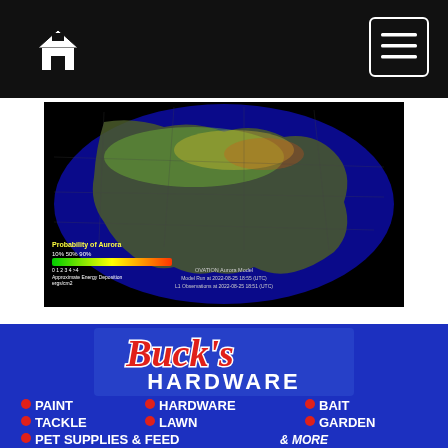[Figure (screenshot): Website navigation bar with home icon on left and hamburger menu button on right, black background]
[Figure (map): OVATION Aurora Model map showing North America with probability of aurora overlay, color gradient from green (10%) to red (90%), Model Run at 2022-08-25 18:55 UTC, L1 Observations at 2022-08-25 18:51 UTC]
[Figure (illustration): Buck's Hardware store advertisement on blue background. Logo shows 'Buck's' in red script and 'HARDWARE' in white bold. Lists: PAINT, HARDWARE, BAIT, TACKLE, LAWN, GARDEN, PET SUPPLIES & FEED, & MORE. Brand logos: Milwaukee, DeWalt, Hirshfield's, Scotts, Valspar. Address: 18 1st Ave. West, Grand Marais. Open 7 Days.]